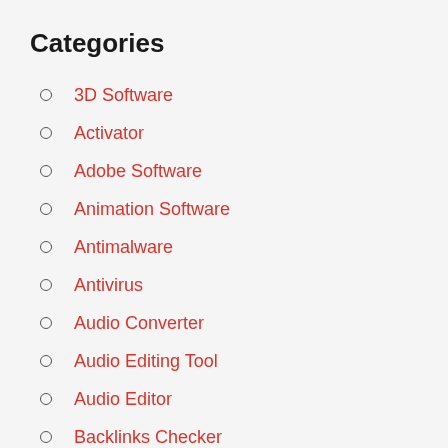Categories
3D Software
Activator
Adobe Software
Animation Software
Antimalware
Antivirus
Audio Converter
Audio Editing Tool
Audio Editor
Backlinks Checker
Business Tools
CD Burner
Composer Software